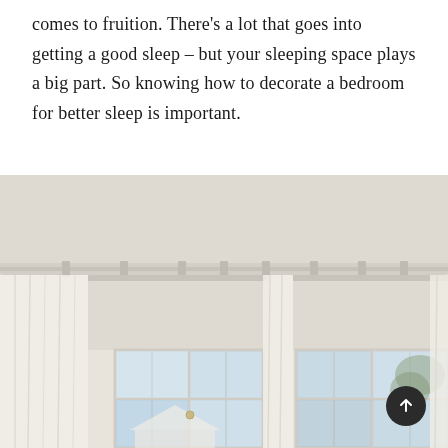comes to fruition. There's a lot that goes into getting a good sleep – but your sleeping space plays a big part. So knowing how to decorate a bedroom for better sleep is important.
[Figure (photo): A bright, airy bedroom window scene showing white sheer curtains hung on a ceiling-mounted curtain track, with a white roller blind partially lowered behind them. French-style windows with multiple panes are visible, with soft natural light coming through. A circular dark scroll-to-top button with an upward arrow is visible in the bottom right corner of the image.]